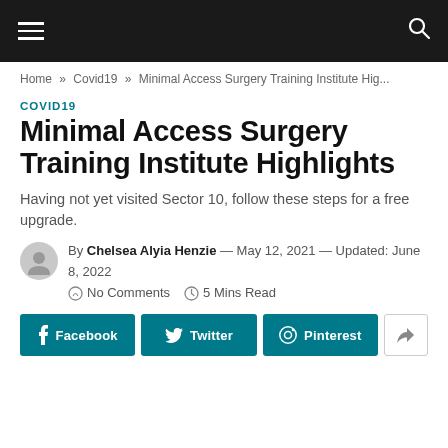≡  🔍
Home » Covid19 » Minimal Access Surgery Training Institute Hig...
COVID19
Minimal Access Surgery Training Institute Highlights
Having not yet visited Sector 10, follow these steps for a free upgrade.
By Chelsea Alyia Henzie — May 12, 2021 — Updated: June 8, 2022  No Comments  5 Mins Read
Facebook  Twitter  Pinterest  Share